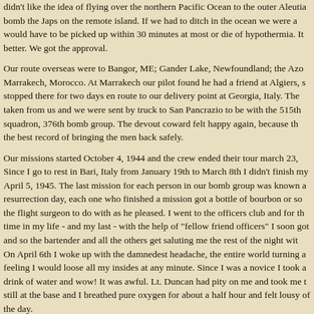didn't like the idea of flying over the northern Pacific Ocean to the outer Aleutia bomb the Japs on the remote island. If we had to ditch in the ocean we were a would have to be picked up within 30 minutes at most or die of hypothermia. It better. We got the approval.
Our route overseas were to Bangor, ME; Gander Lake, Newfoundland; the Azo Marrakech, Morocco. At Marrakech our pilot found he had a friend at Algiers, s stopped there for two days en route to our delivery point at Georgia, Italy. The taken from us and we were sent by truck to San Pancrazio to be with the 515th squadron, 376th bomb group. The devout coward felt happy again, because th the best record of bringing the men back safely.
Our missions started October 4, 1944 and the crew ended their tour march 23, Since I go to rest in Bari, Italy from January 19th to March 8th I didn't finish my April 5, 1945. The last mission for each person in our bomb group was known a resurrection day, each one who finished a mission got a bottle of bourbon or so the flight surgeon to do with as he pleased. I went to the officers club and for th time in my life - and my last - with the help of "fellow friend officers" I soon got and so the bartender and all the others get saluting me the rest of the night wit On April 6th I woke up with the damnedest headache, the entire world turning a feeling I would loose all my insides at any minute. Since I was a novice I took a drink of water and wow! It was awful. Lt. Duncan had pity on me and took me t still at the base and I breathed pure oxygen for about a half hour and felt lousy of the day.
April 7th Col. Wimberly gave me orders, which I personally took with a jeep to hdqtrs in Bari, to get final orders to go home.
There were no heroes in our 376th BG. Col. Graff who was a civilian in uniform the we civilians should get the job done and go home as soon as possible. Lat Fellows took over. He was a West Point graduate and part of the WPPA. Thing